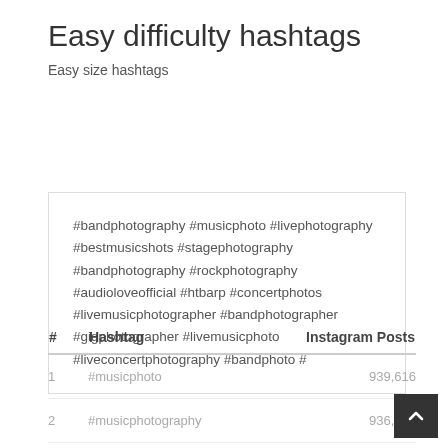Easy difficulty hashtags
Easy size hashtags
#bandphotography #musicphoto #livephotography #bestmusicshots #stagephotography #bandphotography #rockphotography #audioloveofficial #htbarp #concertphotos #livemusicphotographer #bandphotographer #gigphotographer #livemusicphoto #liveconcertphotography #bandphoto #
| # | Hashtag | Instagram Posts |
| --- | --- | --- |
| 1 | #musicphoto | 939,616 |
| 2 | #musicphotography | 936,043 |